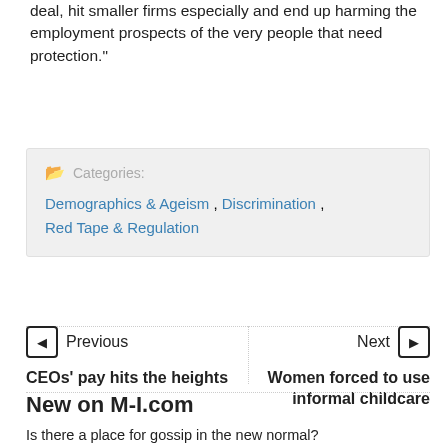deal, hit smaller firms especially and end up harming the employment prospects of the very people that need protection."
Categories: Demographics & Ageism, Discrimination, Red Tape & Regulation
Previous
CEOs' pay hits the heights
Next
Women forced to use informal childcare
New on M-I.com
Is there a place for gossip in the new normal?
The key ingredients for digital project success